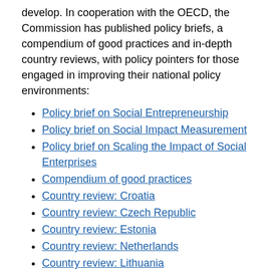develop. In cooperation with the OECD, the Commission has published policy briefs, a compendium of good practices and in-depth country reviews, with policy pointers for those engaged in improving their national policy environments:
Policy brief on Social Entrepreneurship
Policy brief on Social Impact Measurement
Policy brief on Scaling the Impact of Social Enterprises
Compendium of good practices
Country review: Croatia
Country review: Czech Republic
Country review: Estonia
Country review: Netherlands
Country review: Lithuania
Policy paper: Regional Strategies for the Social Economy
The European Commission and the OECD have also jointly developed a Better entrepreneurship policy tool, which can act